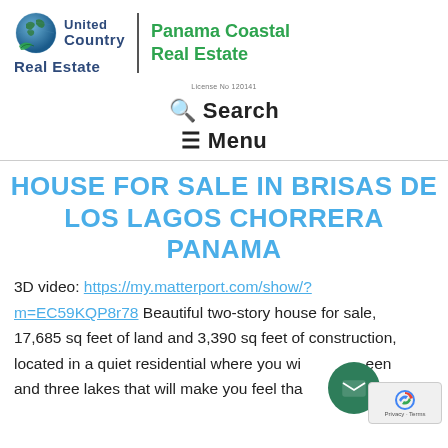[Figure (logo): United Country Real Estate / Panama Coastal Real Estate logo with globe icon]
License No 120141
🔍 Search
☰ Menu
HOUSE FOR SALE IN BRISAS DE LOS LAGOS CHORRERA PANAMA
3D video: https://my.matterport.com/show/?m=EC59KQP8r78 Beautiful two-story house for sale, 17,685 sq feet of land and 3,390 sq feet of construction, located in a quiet residential where you will see green and three lakes that will make you feel that you live in